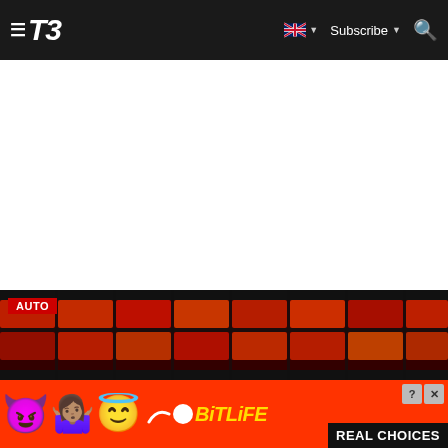T3 navigation bar with hamburger menu, T3 logo, UK flag language selector, Subscribe dropdown, and Search icon
[Figure (screenshot): White blank content area below the T3 navigation bar]
[Figure (photo): Dark red car grille or rear lights of a vehicle, with an AUTO category tag overlay in the top-left corner]
[Figure (infographic): BitLife game advertisement banner with red background featuring devil emoji, person emoji, angel emoji, sperm icon, BitLife logo in yellow italic text, REAL CHOICES text in white on black background, and close/help buttons]